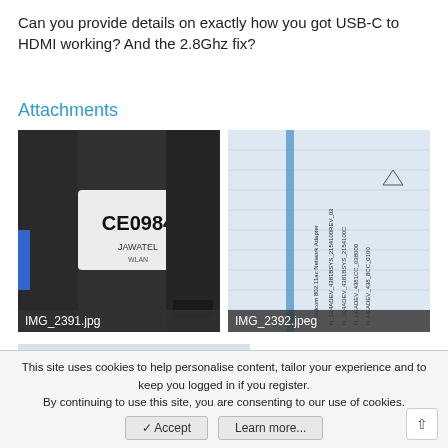Can you provide details on exactly how you got USB-C to HDMI working? And the 2.8Ghz fix?
Attachments
[Figure (photo): Photo of hardware device internals showing a label with CE0984 and WLAN text, Jawatel branding visible. Filename: IMG_2391.jpg]
[Figure (photo): Screenshot of network adapter settings showing text entries like Broadcom 802.11ac Network Adapter and various HEADEV entries. Filename: IMG_2392.jpeg]
[Figure (photo): Partial screenshot showing a grid/table view, partially cut off. Third attachment image.]
This site uses cookies to help personalise content, tailor your experience and to keep you logged in if you register.
By continuing to use this site, you are consenting to our use of cookies.
✓ Accept   Learn more...